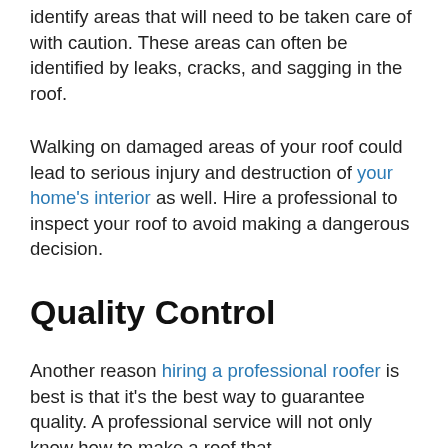identify areas that will need to be taken care of with caution. These areas can often be identified by leaks, cracks, and sagging in the roof.
Walking on damaged areas of your roof could lead to serious injury and destruction of your home's interior as well. Hire a professional to inspect your roof to avoid making a dangerous decision.
Quality Control
Another reason hiring a professional roofer is best is that it's the best way to guarantee quality. A professional service will not only know how to make a roof that